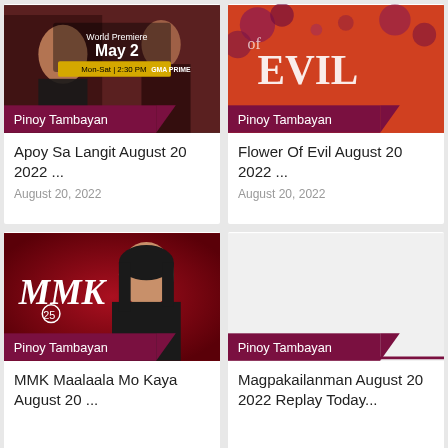[Figure (photo): TV show promotional image for Apoy Sa Langit with GMA Prime branding, World Premiere May 2, Mon-Sat 2:30 PM]
Pinoy Tambayan
Apoy Sa Langit August 20 2022 ...
August 20, 2022
[Figure (photo): Promotional image for Flower of Evil showing red background with decorative flowers and Evil text]
Pinoy Tambayan
Flower Of Evil August 20 2022 ...
August 20, 2022
[Figure (photo): MMK 25 promotional image showing a woman with dark hair in black outfit against red background with MMK 25 logo]
Pinoy Tambayan
MMK Maalaala Mo Kaya August 20 ...
[Figure (photo): Empty/placeholder image area for Magpakailanman]
Pinoy Tambayan
Magpakailanman August 20 2022 Replay Today...